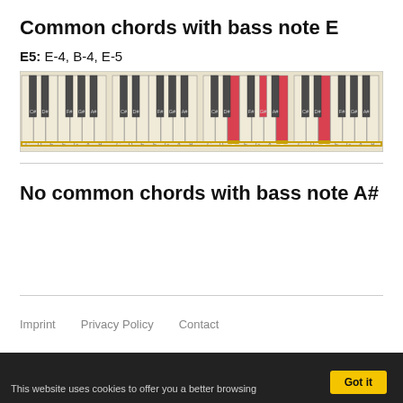Common chords with bass note E
E5: E-4, B-4, E-5
[Figure (illustration): Piano keyboard diagram showing keys from C to B across 4 octaves. Keys E4, B4, and E5 are highlighted in red/yellow indicating chord notes.]
No common chords with bass note A#
Imprint   Privacy Policy   Contact
This website uses cookies to offer you a better browsing